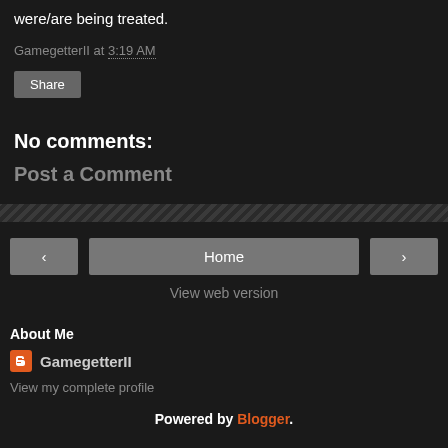were/are being treated.
GamegetterII at 3:19 AM
Share
No comments:
Post a Comment
Home
View web version
About Me
GamegetterII
View my complete profile
Powered by Blogger.